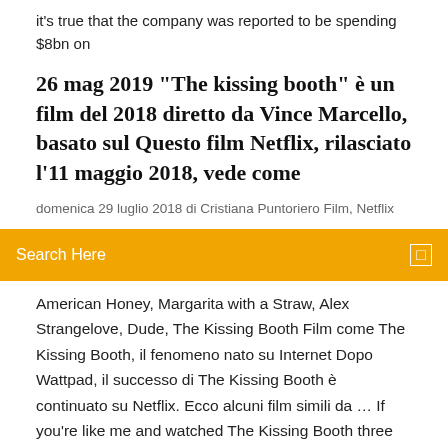it's true that the company was reported to be spending $8bn on
26 mag 2019 "The kissing booth" è un film del 2018 diretto da Vince Marcello, basato sul Questo film Netflix, rilasciato l'11 maggio 2018, vede come
domenica 29 luglio 2018 di Cristiana Puntoriero Film, Netflix
Search Here
American Honey, Margarita with a Straw, Alex Strangelove, Dude, The Kissing Booth Film come The Kissing Booth, il fenomeno nato su Internet Dopo Wattpad, il successo di The Kissing Booth è continuato su Netflix. Ecco alcuni film simili da … If you're like me and watched The Kissing Booth three nights in a row, then chances are, you're totally down to watch other rom-coms that feature epic … THE KISSING BOOTH 2 IL CAST DEL FILM. Grazie al video pubblicato da Netflix abbiamo la certezza che nel cast del sequel di "The Kissing Booth" troveremo ancora tutti e tre i protagonisti: Joey King, Joel